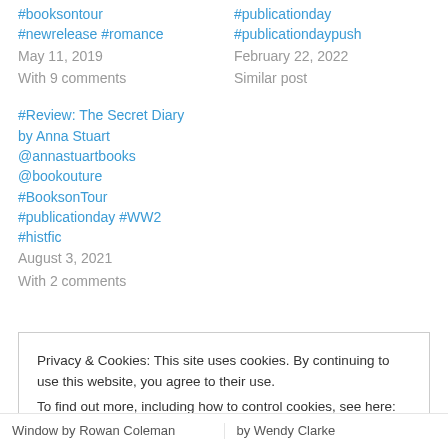#booksontour #newrelease #romance
May 11, 2019
With 9 comments
#publicationday #publicationdaypush
February 22, 2022
Similar post
#Review: The Secret Diary by Anna Stuart @annastuartbooks @bookouture #BooksonTour #publicationday #WW2 #histfic
August 3, 2021
With 2 comments
Privacy & Cookies: This site uses cookies. By continuing to use this website, you agree to their use.
To find out more, including how to control cookies, see here: Cookie Policy
Close and accept
Window by Rowan Coleman | by Wendy Clarke